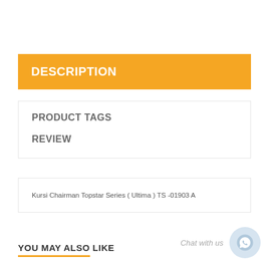DESCRIPTION
PRODUCT TAGS
REVIEW
Kursi Chairman Topstar Series ( Ultima ) TS -01903 A
YOU MAY ALSO LIKE